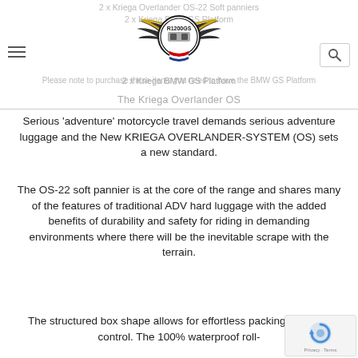2 x Kriega Overlander OS-22 Soft panniers
2 x Kriega BMW GS Platform
[Figure (logo): R1200GS winged motorcycle logo with banner]
Please note to purchase these items you need to have the BMW GS Platform
The Kriega Overlander OS
Serious 'adventure' motorcycle travel demands serious adventure luggage and the New KRIEGA OVERLANDER-SYSTEM (OS) sets a new standard.
The OS-22 soft pannier is at the core of the range and shares many of the features of traditional ADV hard luggage with the added benefits of durability and safety for riding in demanding environments where there will be the inevitable scrape with the terrain.
The structured box shape allows for effortless packing and load control. The 100% waterproof roll-
[Figure (logo): reCAPTCHA badge with Privacy - Terms text]